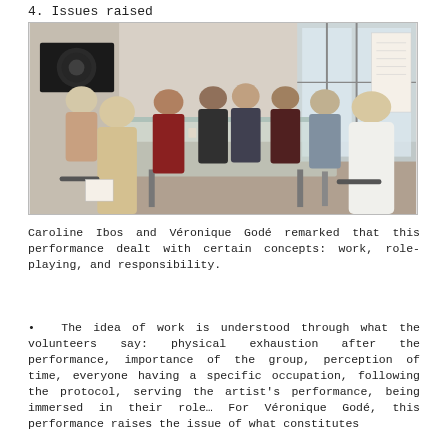4. Issues raised
[Figure (photo): Group of people seated around a glass table in a discussion or meeting room setting. A large screen is visible on the left wall, and windows with natural light are on the right. Several participants are engaged in conversation.]
Caroline Ibos and Véronique Godé remarked that this performance dealt with certain concepts: work, role-playing, and responsibility.
The idea of work is understood through what the volunteers say: physical exhaustion after the performance, importance of the group, perception of time, everyone having a specific occupation, following the protocol, serving the artist's performance, being immersed in their role… For Véronique Godé, this performance raises the issue of what constitutes